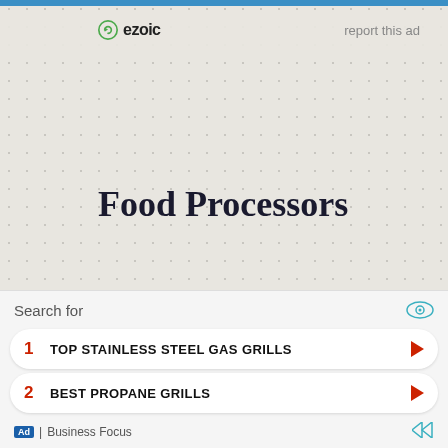[Figure (logo): Ezoic logo with circular arrow icon and text 'ezoic', with 'report this ad' link to the right]
Food Processors
Related Posts
[Figure (photo): Food photo showing ground meat or similar food in a dish]
Best Air Fryer Meatloaf Recipe
[Figure (infographic): Ad panel with search bar, two sponsored listings: 1. TOP STAINLESS STEEL GAS GRILLS, 2. BEST PROPANE GRILLS, and Business Focus footer]